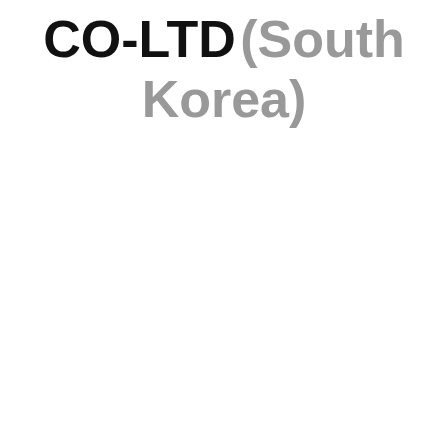Companies ending with ... CO-LTD (South Korea)